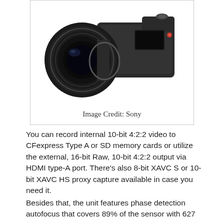[Figure (photo): Sony camera with large lens, angled view, dark body, viewed from the front-left]
Image Credit: Sony
You can record internal 10-bit 4:2:2 video to CFexpress Type A or SD memory cards or utilize the external, 16-bit Raw, 10-bit 4:2:2 output via HDMI type-A port. There's also 8-bit XAVC S or 10-bit XAVC HS proxy capture available in case you need it.
Besides that, the unit features phase detection autofocus that covers 89% of the sensor with 627